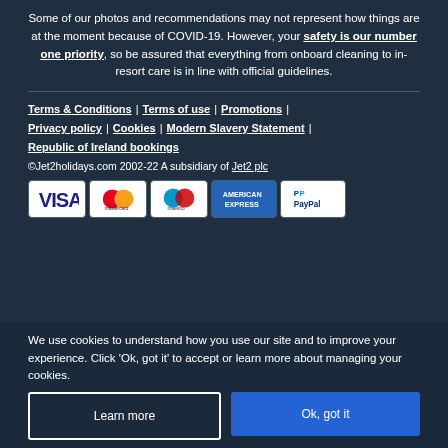Some of our photos and recommendations may not represent how things are at the moment because of COVID-19. However, your safety is our number one priority, so be assured that everything from onboard cleaning to in-resort care is in line with official guidelines.
Terms & Conditions | Terms of use | Promotions | Privacy policy | Cookies | Modern Slavery Statement | Republic of Ireland bookings
©Jet2holidays.com 2002-22 A subsidiary of Jet2 plc
[Figure (logo): Payment method icons: Visa, Mastercard, Maestro, American Express, PayPal]
We use cookies to understand how you use our site and to improve your experience. Click 'Ok, got it' to accept or learn more about managing your cookies.